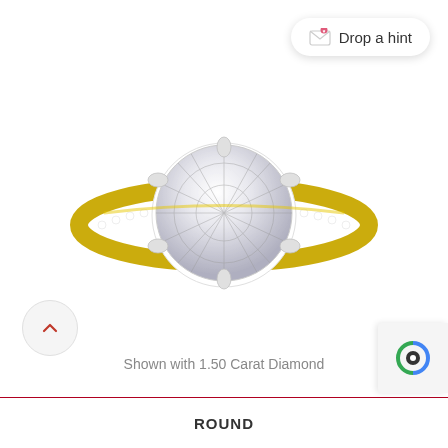[Figure (photo): Drop a hint button with envelope and heart icon, rounded pill shape with shadow]
[Figure (photo): Diamond engagement ring with large round center diamond on yellow gold band with pave diamonds along the shank]
[Figure (other): Navigation chevron up arrow button, circular grey]
Shown with 1.50 Carat Diamond
ROUND